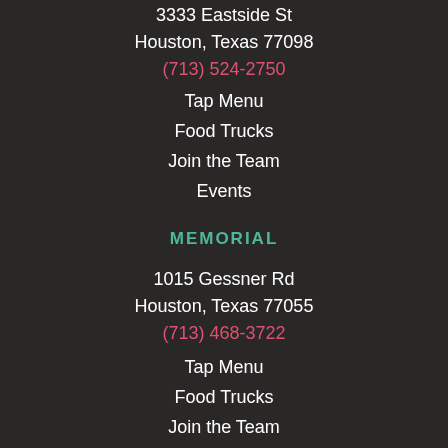3333 Eastside St
Houston, Texas 77098
(713) 524-2750
Tap Menu
Food Trucks
Join the Team
Events
MEMORIAL
1015 Gessner Rd
Houston, Texas 77055
(713) 468-3722
Tap Menu
Food Trucks
Join the Team
Events